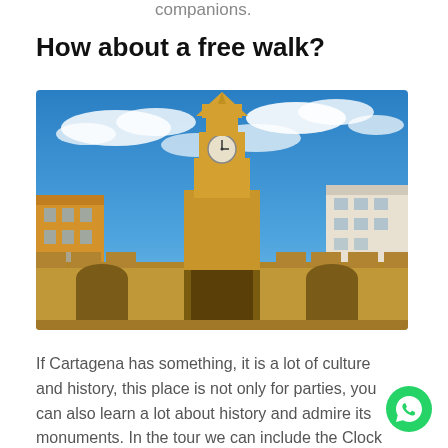companions.
How about a free walk?
[Figure (photo): Photo of the Clock Tower (Torre del Reloj) in Cartagena, Colombia — a tall yellow/golden colonial tower with a clock face, set against a bright blue sky with white clouds. The tower sits atop a stone archway gate. Yellow colonial buildings are visible on the left, white buildings on the right.]
If Cartagena has something, it is a lot of culture and history, this place is not only for parties, you can also learn a lot about history and admire its monuments. In the tour we can include the Clock Tower, the